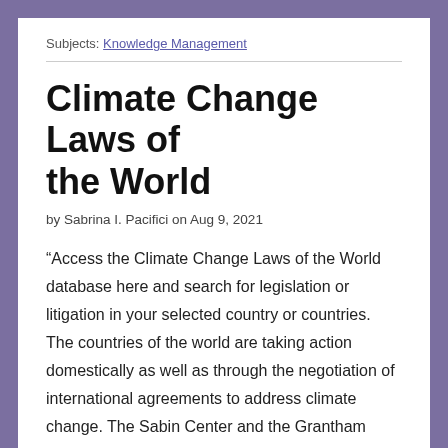Subjects: Knowledge Management
Climate Change Laws of the World
by Sabrina I. Pacifici on Aug 9, 2021
“Access the Climate Change Laws of the World database here and search for legislation or litigation in your selected country or countries. The countries of the world are taking action domestically as well as through the negotiation of international agreements to address climate change. The Sabin Center and the Grantham Research Institute on Climate Change and the Environment have collaborated to create